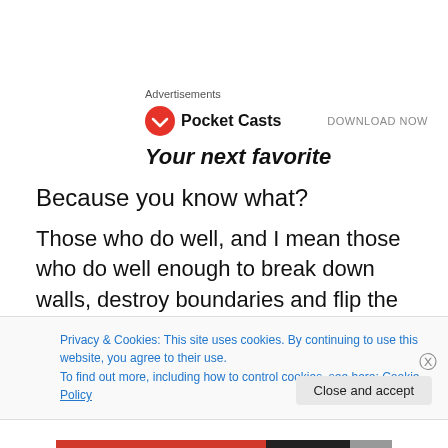Advertisements
[Figure (logo): Pocket Casts logo with red circular icon and bold text 'Pocket Casts', with 'DOWNLOAD NOW' on the right]
Your next favorite
Because you know what?
Those who do well, and I mean those who do well enough to break down walls, destroy boundaries and flip the script when it comes to how society see things, don't do so by
Privacy & Cookies: This site uses cookies. By continuing to use this website, you agree to their use.
To find out more, including how to control cookies, see here: Cookie Policy
Close and accept